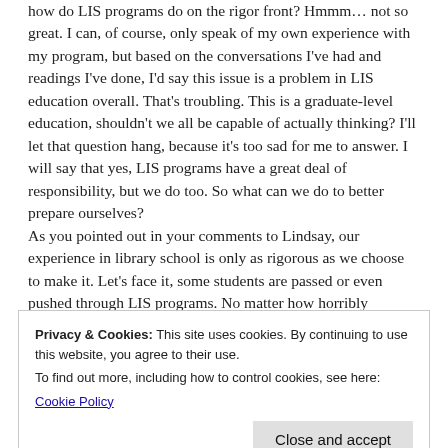how do LIS programs do on the rigor front? Hmmm… not so great. I can, of course, only speak of my own experience with my program, but based on the conversations I've had and readings I've done, I'd say this issue is a problem in LIS education overall. That's troubling. This is a graduate-level education, shouldn't we all be capable of actually thinking? I'll let that question hang, because it's too sad for me to answer. I will say that yes, LIS programs have a great deal of responsibility, but we do too. So what can we do to better prepare ourselves?
As you pointed out in your comments to Lindsay, our experience in library school is only as rigorous as we choose to make it. Let's face it, some students are passed or even pushed through LIS programs. No matter how horribly demoralizing that may be, we should let it discourage us. Use that shared
Privacy & Cookies: This site uses cookies. By continuing to use this website, you agree to their use.
To find out more, including how to control cookies, see here:
Cookie Policy
professional conversations like those that go on right here on